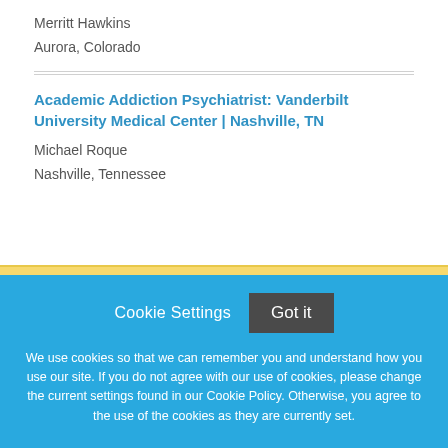Merritt Hawkins
Aurora, Colorado
Academic Addiction Psychiatrist: Vanderbilt University Medical Center | Nashville, TN
Michael Roque
Nashville, Tennessee
Cookie Settings   Got it
We use cookies so that we can remember you and understand how you use our site. If you do not agree with our use of cookies, please change the current settings found in our Cookie Policy. Otherwise, you agree to the use of the cookies as they are currently set.